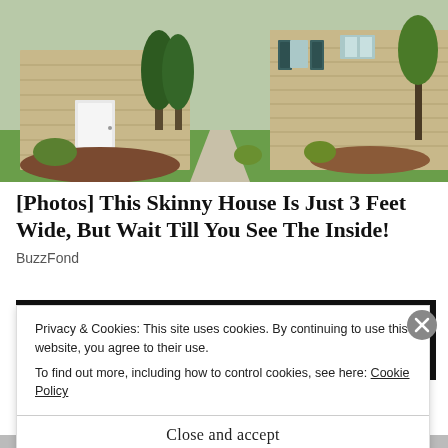[Figure (photo): Exterior photo of a suburban house with beige siding, white front door, evergreen shrubs, and a green lawn with a concrete walkway]
[Photos] This Skinny House Is Just 3 Feet Wide, But Wait Till You See The Inside!
BuzzFond
[Figure (other): Black advertisement banner with red text reading 'INSTANT CASE REVIEW' and a decorative eagle graphic]
Privacy & Cookies: This site uses cookies. By continuing to use this website, you agree to their use. To find out more, including how to control cookies, see here: Cookie Policy
Close and accept